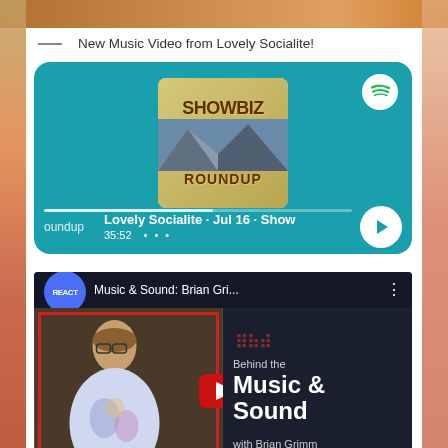[Figure (screenshot): Top strip showing decorative image background]
New Music Video from Lovely Socialite!
[Figure (screenshot): Spotify podcast card for Showbiz Roundup featuring Lovely Socialite · Jul 16 · Show... episode, duration 35:52, with album artwork and play button]
[Figure (screenshot): YouTube video thumbnail for 'Music & Sound: Brian Gri...' with REACT badge, a man in a tie-dye shirt, red play button, and text 'Behind the Music & Sound with Brian Grimm']